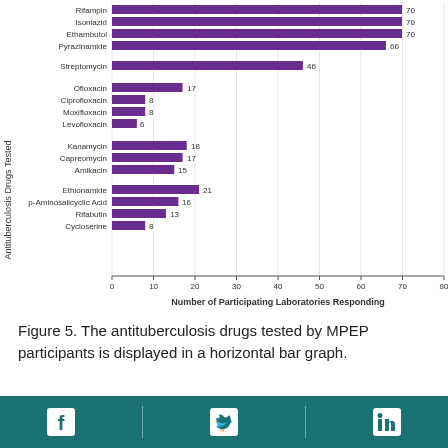[Figure (bar-chart): ]
Figure 5. The antituberculosis drugs tested by MPEP participants is displayed in a horizontal bar graph.
View Larger
Facebook | Twitter | LinkedIn